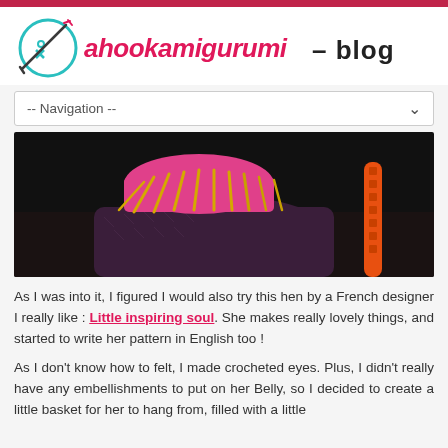ahookamigurumi – blog
[Figure (logo): Ahookamigurumi blog logo with teal circle icon and hand-drawn style text]
-- Navigation --
[Figure (photo): Close-up photo of a crocheted hen with dark purple body, pink top, yellow yarn fringe, and orange tail/braid]
As I was into it, I figured I would also try this hen by a French designer I really like : Little inspiring soul. She makes really lovely things, and started to write her pattern in English too !
As I don't know how to felt, I made crocheted eyes. Plus, I didn't really have any embellishments to put on her Belly, so I decided to create a little basket for her to hang from, filled with a little...